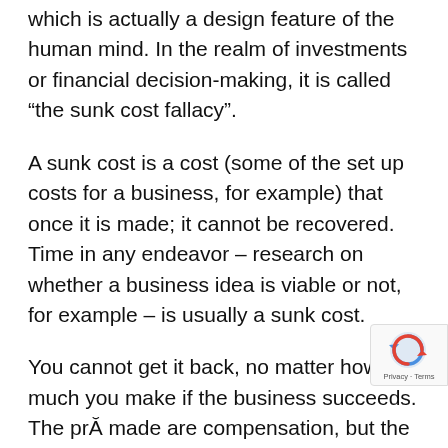which is actually a design feature of the human mind. In the realm of investments or financial decision-making, it is called “the sunk cost fallacy”.
A sunk cost is a cost (some of the set up costs for a business, for example) that once it is made; it cannot be recovered. Time in any endeavor – research on whether a business idea is viable or not, for example – is usually a sunk cost.
You cannot get it back, no matter how much you make if the business succeeds. The pro made are compensation, but the time is sti “sunk” and the at compensate it b